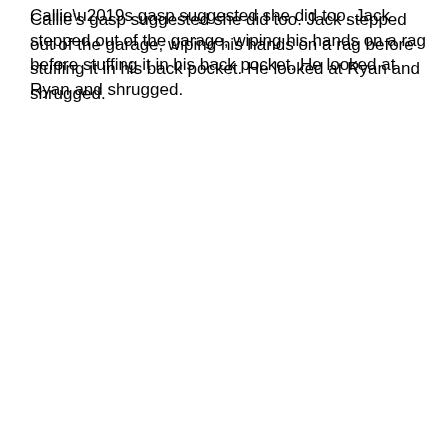Callie's gasp suggested she did too. Jack stepped out of the garage, wiping his hands on a rag before stuffing it in his back pocket. He looked at Ryan and shrugged.
The car door opened.
Callie stepped beside Ryan. “Kyle.”
ABOUT SUMMER PLANS AND OTHER DISASTERS
Elementary school music teacher Callie Stevens thinks she’s finally figured out God’s plan for her life—she even made a list to keep her on track. Moving in with her brother and reconnecting with her ex-boyfriend are at the top of the list. What’s not on the list is running into her childhood crush, Ryan. God wanted her to connect with Kyle, right? Trying to figure out God’s plan is hard enough. But a dating-averse older brother, the young